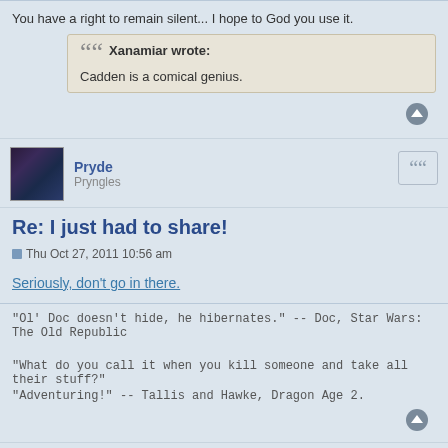You have a right to remain silent... I hope to God you use it.
Xanamiar wrote: Cadden is a comical genius.
Pryde
Pryngles
Re: I just had to share!
Thu Oct 27, 2011 10:56 am
Seriously, don't go in there.
"Ol' Doc doesn't hide, he hibernates." -- Doc, Star Wars: The Old Republic
"What do you call it when you kill someone and take all their stuff?"
"Adventuring!" -- Tallis and Hawke, Dragon Age 2.
Pryde
Pryngles